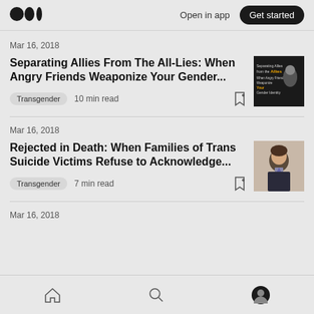Medium — Open in app   Get started
Mar 16, 2018
Separating Allies From The All-Lies: When Angry Friends Weaponize Your Gender...
Transgender  10 min read
Mar 16, 2018
Rejected in Death: When Families of Trans Suicide Victims Refuse to Acknowledge...
Transgender  7 min read
Mar 16, 2018
Home  Search  Profile